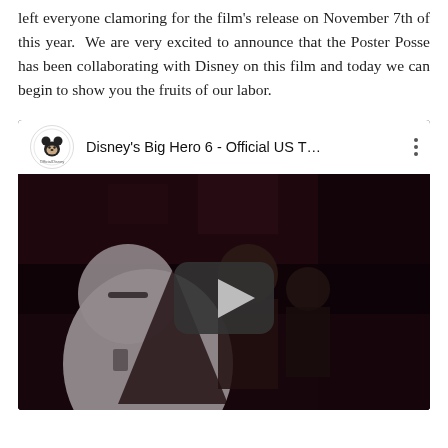left everyone clamoring for the film's release on November 7th of this year.  We are very excited to announce that the Poster Posse has been collaborating with Disney on this film and today we can begin to show you the fruits of our labor.
[Figure (screenshot): YouTube video embed showing Disney's Big Hero 6 - Official US T... with a dark scene from the animated film featuring Baymax and characters, with a play button overlay]